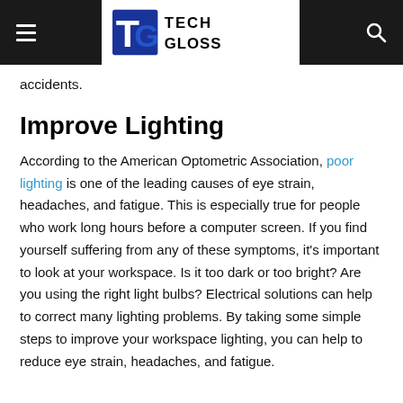Tech Gloss
accidents.
Improve Lighting
According to the American Optometric Association, poor lighting is one of the leading causes of eye strain, headaches, and fatigue. This is especially true for people who work long hours before a computer screen. If you find yourself suffering from any of these symptoms, it’s important to look at your workspace. Is it too dark or too bright? Are you using the right light bulbs? Electrical solutions can help to correct many lighting problems. By taking some simple steps to improve your workspace lighting, you can help to reduce eye strain, headaches, and fatigue.